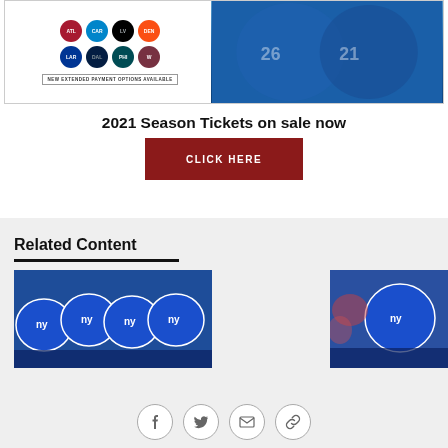[Figure (advertisement): NFL 2021 Season Tickets advertisement banner with team logos (Falcons, Panthers, Raiders, Broncos, Rams, Cowboys, Eagles, Washington) on left white panel and football players in blue uniforms on right panel, with 'NEW EXTENDED PAYMENT OPTIONS AVAILABLE' banner at bottom of left panel]
2021 Season Tickets on sale now
[Figure (infographic): Red button with white text reading 'CLICK HERE']
Related Content
[Figure (photo): NY Giants players in blue helmets huddled together on the field]
[Figure (photo): NY Giants player in blue helmet in game action]
[Figure (infographic): Social sharing icons: Facebook, Twitter, Email, Link]